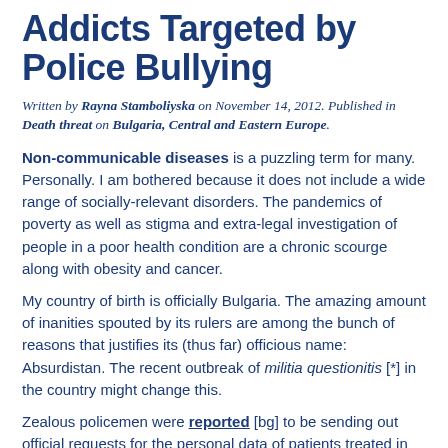Addicts Targeted by Police Bullying
Written by Rayna Stamboliyska on November 14, 2012. Published in Death threat on Bulgaria, Central and Eastern Europe.
Non-communicable diseases is a puzzling term for many. Personally. I am bothered because it does not include a wide range of socially-relevant disorders. The pandemics of poverty as well as stigma and extra-legal investigation of people in a poor health condition are a chronic scourge along with obesity and cancer.
My country of birth is officially Bulgaria. The amazing amount of inanities spouted by its rulers are among the bunch of reasons that justifies its (thus far) officious name: Absurdistan. The recent outbreak of militia questionitis [*] in the country might change this.
Zealous policemen were reported [bg] to be sending out official requests for the personal data of patients treated in the capital